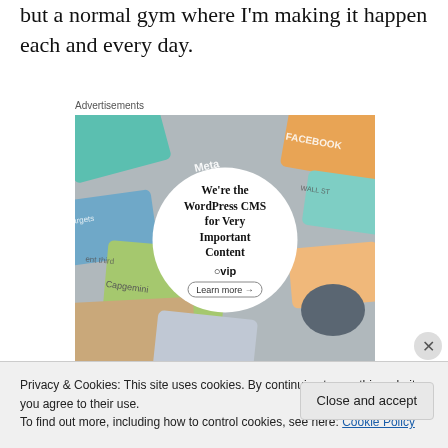but a normal gym where I'm making it happen each and every day.
Advertisements
[Figure (illustration): WordPress VIP advertisement. A circular white overlay on a background of colorful illustrated cards (Meta, Facebook, Capgemini, Salesforce, etc.) containing the text 'We're the WordPress CMS for Very Important Content' with a WordPress VIP logo and a 'Learn more →' button.]
Privacy & Cookies: This site uses cookies. By continuing to use this website, you agree to their use.
To find out more, including how to control cookies, see here: Cookie Policy